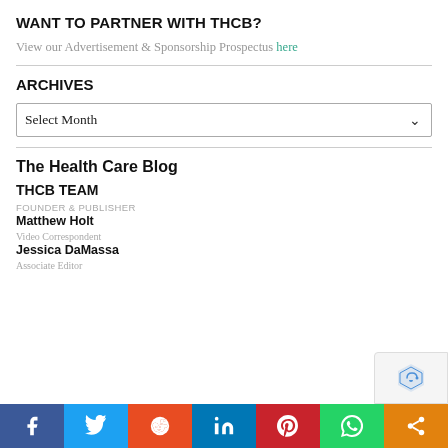WANT TO PARTNER WITH THCB?
View our Advertisement & Sponsorship Prospectus here
ARCHIVES
Select Month
The Health Care Blog
THCB TEAM
FOUNDER & PUBLISHER
Matthew Holt
Video Correspondent
Jessica DaMassa
Associate Editor